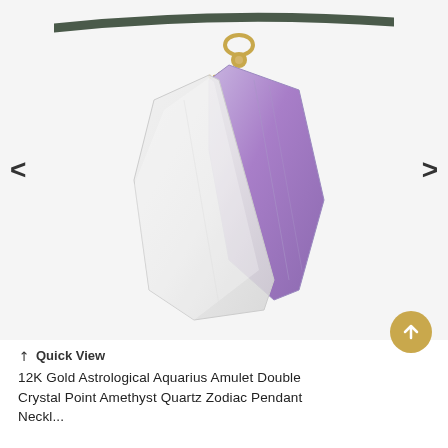[Figure (photo): A jewelry pendant featuring two crystals — a clear quartz and a purple amethyst — bound together with gold wire wrapping, hanging from a dark gray leather cord. The pendant shows double crystal points. Navigation arrows (< and >) appear on left and right sides of the image.]
Quick View
12K Gold Astrological Aquarius Amulet Double Crystal Point Amethyst Quartz Zodiac Pendant Neckl...